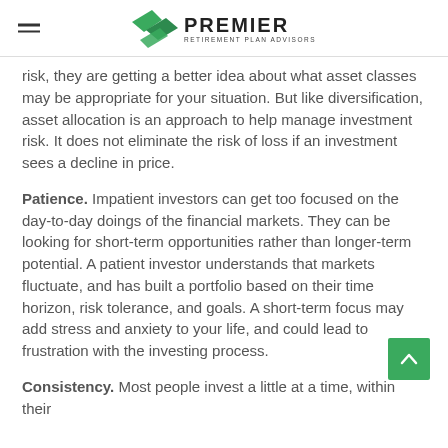Premier Retirement Plan Advisors
risk, they are getting a better idea about what asset classes may be appropriate for your situation. But like diversification, asset allocation is an approach to help manage investment risk. It does not eliminate the risk of loss if an investment sees a decline in price.
Patience. Impatient investors can get too focused on the day-to-day doings of the financial markets. They can be looking for short-term opportunities rather than longer-term potential. A patient investor understands that markets fluctuate, and has built a portfolio based on their time horizon, risk tolerance, and goals. A short-term focus may add stress and anxiety to your life, and could lead to frustration with the investing process.
Consistency. Most people invest a little at a time, within their